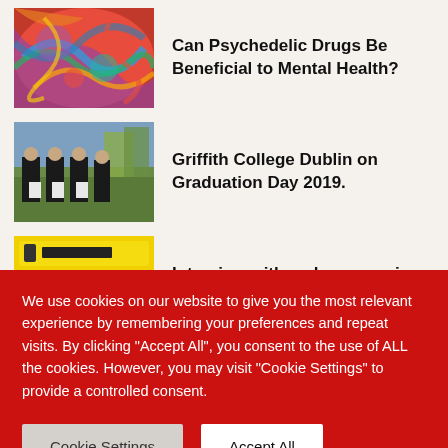[Figure (photo): Colorful psychedelic swirl pattern in reds, blues, greens, and oranges]
Can Psychedelic Drugs Be Beneficial to Mental Health?
[Figure (photo): Group of graduates in black gowns holding certificates, standing outdoors on Graduation Day 2019 at Griffith College Dublin]
Griffith College Dublin on Graduation Day 2019.
[Figure (photo): Storefront of Mr iPhone phone repair shop on Clanbrassil Street Dublin 8, with yellow signage]
Interview with a phone repairer on Clanbrassil Street Dublin 8
We use cookies on our website to give you the most relevant experience by remembering your preferences and repeat visits. By clicking "Accept All", you consent to the use of ALL the cookies. However, you may visit "Cookie Settings" to provide a controlled consent.